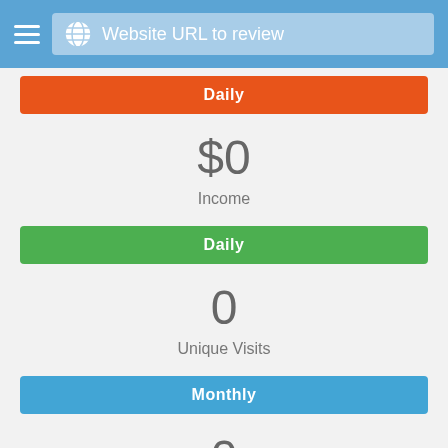Website URL to review
Daily
$0
Income
Daily
0
Unique Visits
Monthly
0
Pages Views
Monthly